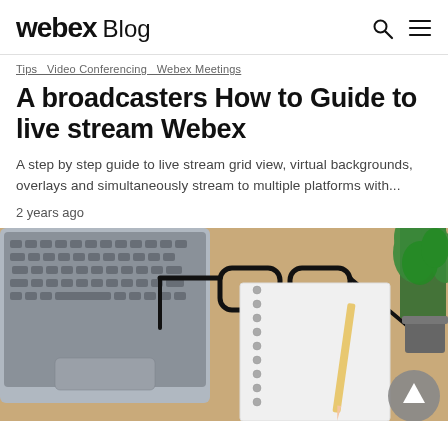webex Blog
Tips  Video Conferencing  Webex Meetings
A broadcasters How to Guide to live stream Webex
A step by step guide to live stream grid view, virtual backgrounds, overlays and simultaneously stream to multiple platforms with...
2 years ago
[Figure (photo): A desk with a laptop keyboard on the left, glasses and a spiral notebook with a pencil in the center, and a green plant in a pot on the right. Warm wood-toned desk surface.]